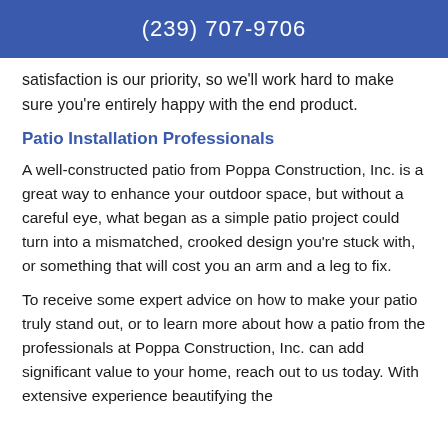(239) 707-9706
satisfaction is our priority, so we’ll work hard to make sure you’re entirely happy with the end product.
Patio Installation Professionals
A well-constructed patio from Poppa Construction, Inc. is a great way to enhance your outdoor space, but without a careful eye, what began as a simple patio project could turn into a mismatched, crooked design you’re stuck with, or something that will cost you an arm and a leg to fix.
To receive some expert advice on how to make your patio truly stand out, or to learn more about how a patio from the professionals at Poppa Construction, Inc. can add significant value to your home, reach out to us today. With extensive experience beautifying the